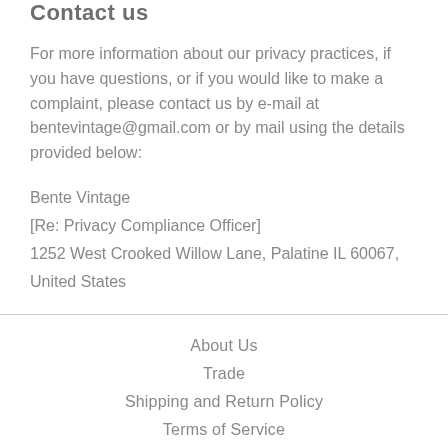Contact us
For more information about our privacy practices, if you have questions, or if you would like to make a complaint, please contact us by e-mail at bentevintage@gmail.com or by mail using the details provided below:
Bente Vintage
[Re: Privacy Compliance Officer]
1252 West Crooked Willow Lane, Palatine IL 60067, United States
About Us
Trade
Shipping and Return Policy
Terms of Service